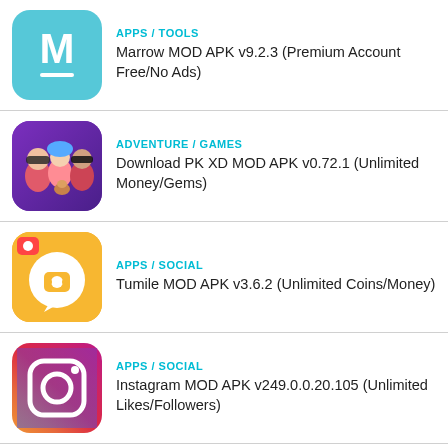APPS / TOOLS
Marrow MOD APK v9.2.3 (Premium Account Free/No Ads)
ADVENTURE / GAMES
Download PK XD MOD APK v0.72.1 (Unlimited Money/Gems)
APPS / SOCIAL
Tumile MOD APK v3.6.2 (Unlimited Coins/Money)
APPS / SOCIAL
Instagram MOD APK v249.0.0.20.105 (Unlimited Likes/Followers)
BOARD / GAMES
Ludo King MOD APK v7.2.0.224 (Unlimited